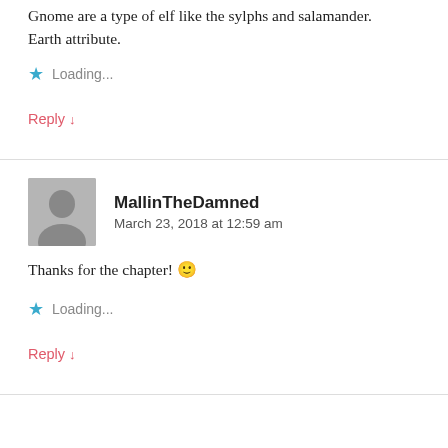Gnome are a type of elf like the sylphs and salamander. Earth attribute.
Loading...
Reply ↓
MallinTheDamned
March 23, 2018 at 12:59 am
Thanks for the chapter! 🙂
Loading...
Reply ↓